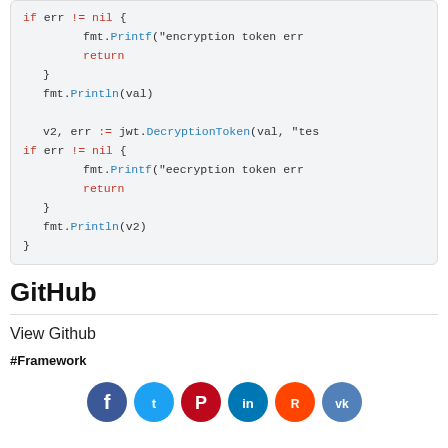[Figure (screenshot): Code block showing Go code with jwt.DecryptionToken usage, fmt.Printf and fmt.Println calls, if err != nil checks, and return statements]
GitHub
View Github
#Framework
[Figure (infographic): Row of social media share icons: Facebook (dark blue), Twitter (light blue), Pinterest (red), LinkedIn (blue), Reddit (orange-red), VK (blue-gray)]